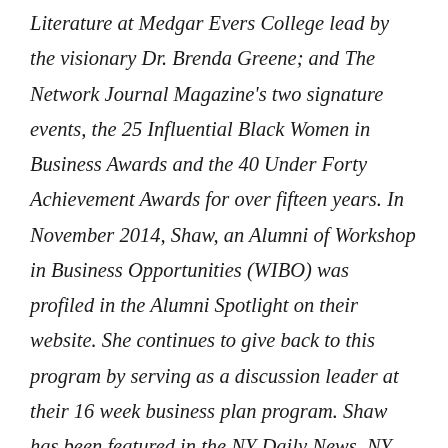Literature at Medgar Evers College lead by the visionary Dr. Brenda Greene; and The Network Journal Magazine's two signature events, the 25 Influential Black Women in Business Awards and the 40 Under Forty Achievement Awards for over fifteen years. In November 2014, Shaw, an Alumni of Workshop in Business Opportunities (WIBO) was profiled in the Alumni Spotlight on their website. She continues to give back to this program by serving as a discussion leader at their 16 week business plan program. Shaw has been featured in the NY Daily News, NY Amsterdam News and several other publications. Julia was inspired by the friendship she developed with award winning children's book author and illustrator John Steptoe to promote African American literature. She launched, Shaw Literary Group in 1995, focusing on the niche to market and sell African American literature. One